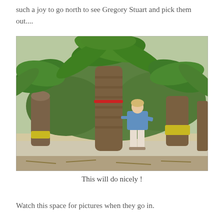such a joy to go north to see Gregory Stuart and pick them out....
[Figure (photo): A woman in a blue shirt and white pants standing next to a large palm tree in a palm tree nursery or farm, with many other palm trees visible in the background. A red band is tied around the trunk of the selected palm tree.]
This will do nicely !
Watch this space for pictures when they go in.